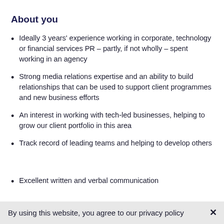About you
Ideally 3 years' experience working in corporate, technology or financial services PR – partly, if not wholly – spent working in an agency
Strong media relations expertise and an ability to build relationships that can be used to support client programmes and new business efforts
An interest in working with tech-led businesses, helping to grow our client portfolio in this area
Track record of leading teams and helping to develop others
Excellent written and verbal communication journalism or in-house for technology or fintech
By using this website, you agree to our privacy policy